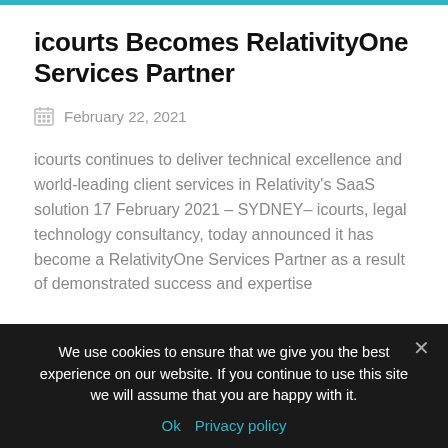icourts Becomes RelativityOne Services Partner
February 22, 2021
icourts continues to deliver technical excellence and world-leading client services in Relativity's SaaS solution 17 February 2021 – SYDNEY– icourts, legal technology consultancy, today announced it has become a RelativityOne Services Partner as a result of demonstrated success and expertise
We use cookies to ensure that we give you the best experience on our website. If you continue to use this site we will assume that you are happy with it.